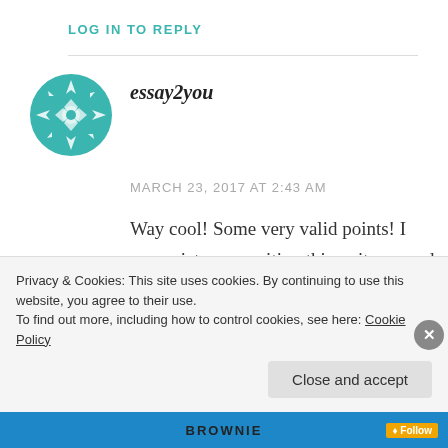LOG IN TO REPLY
essay2you
MARCH 23, 2017 AT 2:43 AM
Way cool! Some very valid points! I appreciate you writing this write-up and the rest of the website is really good.
Privacy & Cookies: This site uses cookies. By continuing to use this website, you agree to their use.
To find out more, including how to control cookies, see here: Cookie Policy
Close and accept